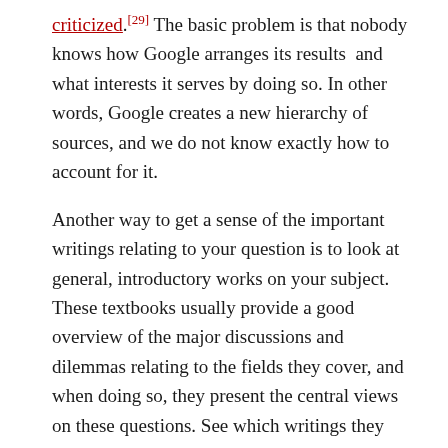criticized.[29] The basic problem is that nobody knows how Google arranges its results and what interests it serves by doing so. In other words, Google creates a new hierarchy of sources, and we do not know exactly how to account for it.
Another way to get a sense of the important writings relating to your question is to look at general, introductory works on your subject. These textbooks usually provide a good overview of the major discussions and dilemmas relating to the fields they cover, and when doing so, they present the central views on these questions. See which writings they discuss and cite. A good place to start, in order to gain access to initial